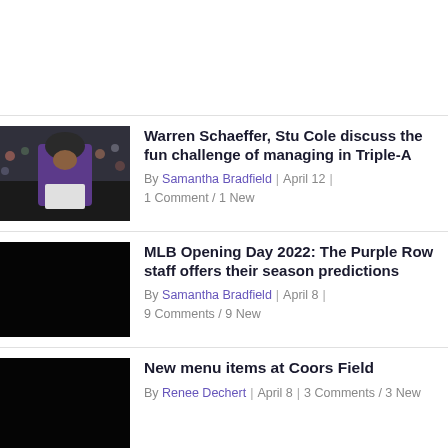[Figure (photo): Baseball player in purple Colorado Rockies uniform standing on field with crowd in background]
Warren Schaeffer, Stu Cole discuss the fun challenge of managing in Triple-A
By Samantha Bradfield | April 12 | 1 Comment / 1 New
[Figure (photo): Dark/black image (article thumbnail)]
MLB Opening Day 2022: The Purple Row staff offers their season predictions
By Samantha Bradfield | April 8 | 9 Comments / 9 New
[Figure (photo): Dark/black image (article thumbnail)]
New menu items at Coors Field
By Renee Dechert | April 8 | 3 Comments / 3 New